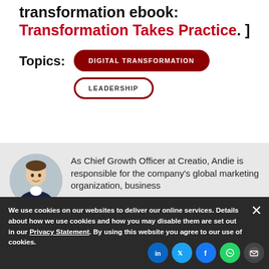inspire to make stronger with the digital transformation ebook: Transformation Takes Practice. ]
Topics:
DIGITAL TRANSFORMATION
LEADERSHIP
[Figure (photo): Circular portrait photo of a man in a dark suit jacket, smiling, with hand near chin.]
As Chief Growth Officer at Creatio, Andie is responsible for the company's global marketing organization, business...
We use cookies on our websites to deliver our online services. Details about how we use cookies and how you may disable them are set out in our Privacy Statement. By using this website you agree to our use of cookies.